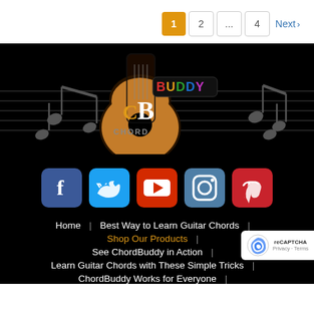1  2  ...  4  Next >
[Figure (logo): ChordBuddy logo — guitar with 'CB' text and colorful 'BUDDY' lettering, surrounded by musical notes on a black background with staff lines]
[Figure (infographic): Social media icons: Facebook (blue), Twitter (light blue), YouTube (red), Instagram (steel blue), Pinterest (red)]
Home  |  Best Way to Learn Guitar Chords  |
Shop Our Products  |
See ChordBuddy in Action  |
Learn Guitar Chords with These Simple Tricks  |
ChordBuddy Works for Everyone  |